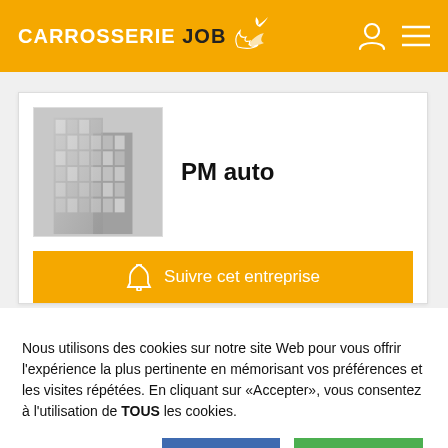CARROSSERIE JOB
[Figure (logo): CarrosserieJob logo with flame graphic on orange header background]
[Figure (photo): Black and white photo of a modern glass office building]
PM auto
Suivre cet entreprise
Nous utilisons des cookies sur notre site Web pour vous offrir l'expérience la plus pertinente en mémorisant vos préférences et les visites répétées. En cliquant sur «Accepter», vous consentez à l'utilisation de TOUS les cookies.
paramètres cookies
REFUSER
ACCEPTER